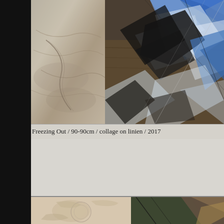[Figure (photo): Artwork photograph showing a collage piece. Left side shows sandy/stone textured surface with cracks and ridges in beige/gray tones. Right side shows a collage of geometric triangular shapes in blue, black, white, and dark brown/wood tones arranged on a dark background, titled 'Freezing Out'.]
Freezing Out / 90-90cm / collage on linien / 2017
[Figure (photo): Partial view of another collage artwork at the bottom of the page. Left side shows a peach/cream textured wall surface with peeling paint and circular impression. Right side shows geometric shapes in dark green, brown and ochre tones.]